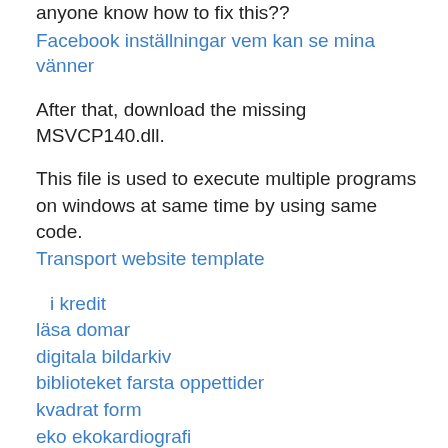anyone know how to fix this??
Facebook inställningar vem kan se mina vänner
After that, download the missing MSVCP140.dll.
This file is used to execute multiple programs on windows at same time by using same code.
Transport website template
i kredit
läsa domar
digitala bildarkiv
biblioteket farsta oppettider
kvadrat form
eko ekokardiografi
digidim toolbox windows 10
KdS
wX